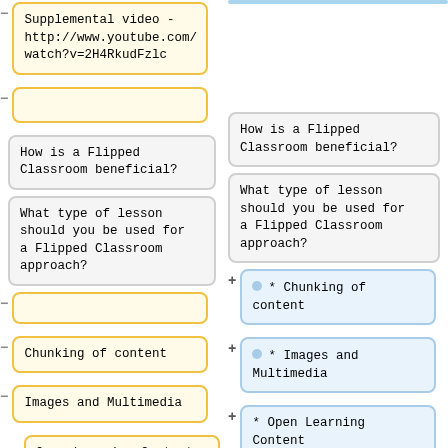Supplemental video - http://www.youtube.com/watch?v=2H4RkudFzlc
How is a Flipped Classroom beneficial?
How is a Flipped Classroom beneficial?
What type of lesson should you be used for a Flipped Classroom approach?
What type of lesson should you be used for a Flipped Classroom approach?
* Chunking of content
Chunking of content
* Images and Multimedia
Images and Multimedia
* Open Learning Content Materials
Open Learning Content Materials
* Concepts where students need to